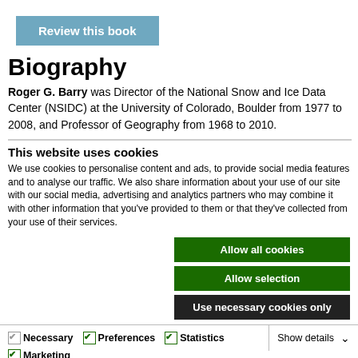[Figure (other): Blue button labeled 'Review this book']
Biography
Roger G. Barry was Director of the National Snow and Ice Data Center (NSIDC) at the University of Colorado, Boulder from 1977 to 2008, and Professor of Geography from 1968 to 2010.
This website uses cookies
We use cookies to personalise content and ads, to provide social media features and to analyse our traffic. We also share information about your use of our site with our social media, advertising and analytics partners who may combine it with other information that you've provided to them or that they've collected from your use of their services.
[Figure (other): Three buttons: 'Allow all cookies' (green), 'Allow selection' (green), 'Use necessary cookies only' (dark/black)]
Necessary  Preferences  Statistics  Marketing  Show details